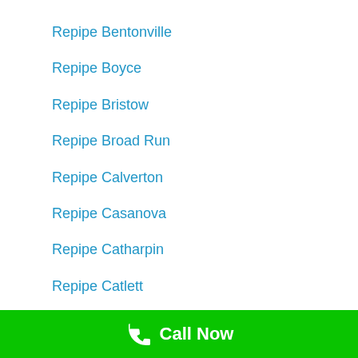Repipe Bentonville
Repipe Boyce
Repipe Bristow
Repipe Broad Run
Repipe Calverton
Repipe Casanova
Repipe Catharpin
Repipe Catlett
Repipe Chantilly
Call Now